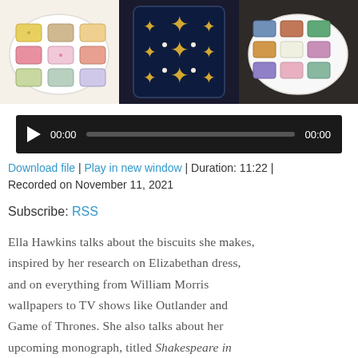[Figure (photo): Three photos side by side showing decorated biscuits/cookies on white plates. Left: colorful patterned rectangular biscuits with floral designs in pink, yellow, green. Center: a dark navy phone/tablet decorated with gold fleur-de-lis pattern. Right: rectangular biscuits with colorful floral fabric-inspired patterns on white plate.]
[Figure (screenshot): Audio player bar with dark background, play button triangle, time 00:00, progress bar, and end time 00:00]
Download file | Play in new window | Duration: 11:22 | Recorded on November 11, 2021
Subscribe: RSS
Ella Hawkins talks about the biscuits she makes, inspired by her research on Elizabethan dress, and on everything from William Morris wallpapers to TV shows like Outlander and Game of Thrones. She also talks about her upcoming monograph, titled Shakespeare in